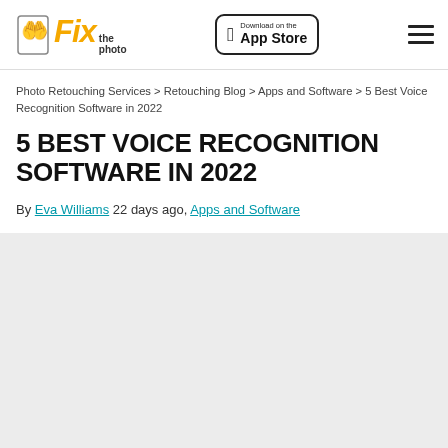Fix the photo | Download on the App Store
Photo Retouching Services > Retouching Blog > Apps and Software > 5 Best Voice Recognition Software in 2022
5 BEST VOICE RECOGNITION SOFTWARE IN 2022
By Eva Williams 22 days ago, Apps and Software
[Figure (photo): Gray placeholder image area below the article header]